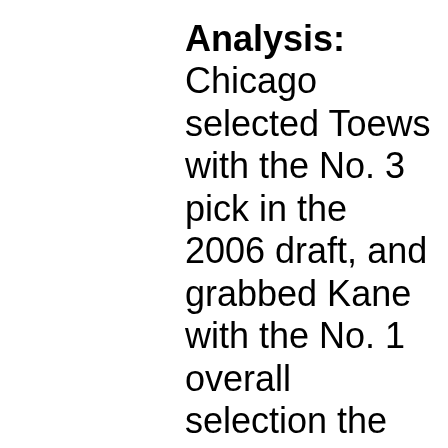Analysis: Chicago selected Toews with the No. 3 pick in the 2006 draft, and grabbed Kane with the No. 1 overall selection the following year. They combined to lead the Blackhawks to Stanley Cup titles in 2010 and 2013. Kane had 29 goals and 40 assists and